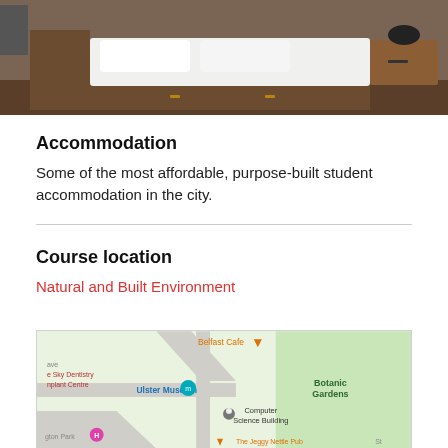[Figure (photo): Hotel/student accommodation bedroom with white bedding, wooden furniture, and a bedside lamp]
Accommodation
Some of the most affordable, purpose-built student accommodation in the city.
Course location
Natural and Built Environment
[Figure (map): Google Maps view showing Ulster Museum, Computer Science Building, Botanic Gardens, Belfast Cafe, The Jeggy Nettle Pub and surrounding area in Belfast]